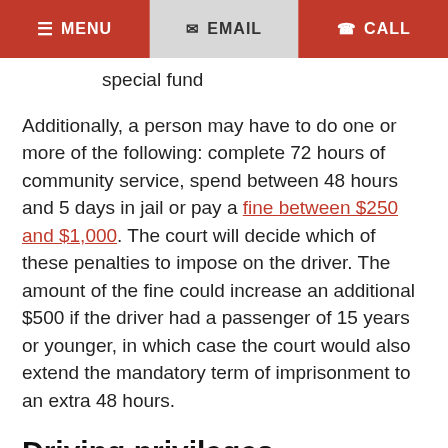MENU  EMAIL  CALL
special fund
Additionally, a person may have to do one or more of the following: complete 72 hours of community service, spend between 48 hours and 5 days in jail or pay a fine between $250 and $1,000. The court will decide which of these penalties to impose on the driver. The amount of the fine could increase an additional $500 if the driver had a passenger of 15 years or younger, in which case the court would also extend the mandatory term of imprisonment to an extra 48 hours.
Driving privileges
With an interlock device installed in the car, a person